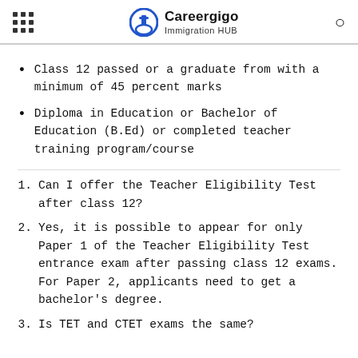Careergigo Immigration HUB
Class 12 passed or a graduate from with a minimum of 45 percent marks
Diploma in Education or Bachelor of Education (B.Ed) or completed teacher training program/course
1. Can I offer the Teacher Eligibility Test after class 12?
2. Yes, it is possible to appear for only Paper 1 of the Teacher Eligibility Test entrance exam after passing class 12 exams. For Paper 2, applicants need to get a bachelor's degree.
3. Is TET and CTET exams the same?